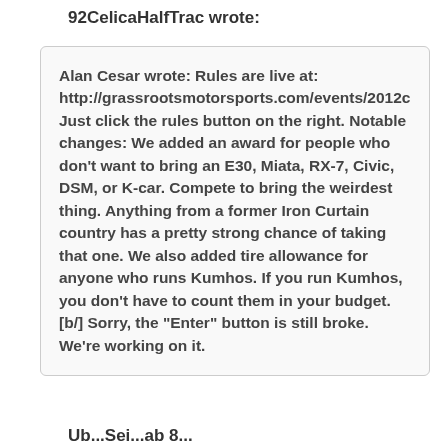92CelicaHalfTrac wrote:
Alan Cesar wrote: Rules are live at: http://grassrootsmotorsports.com/events/2012c Just click the rules button on the right. Notable changes: We added an award for people who don't want to bring an E30, Miata, RX-7, Civic, DSM, or K-car. Compete to bring the weirdest thing. Anything from a former Iron Curtain country has a pretty strong chance of taking that one. We also added tire allowance for anyone who runs Kumhos. If you run Kumhos, you don't have to count them in your budget.[b/] Sorry, the "Enter" button is still broke. We're working on it.
Ub...Sei...ab 8...